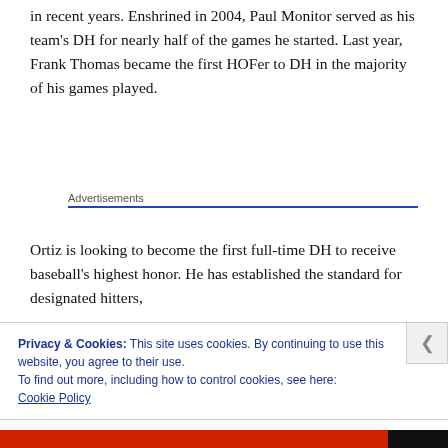in recent years.  Enshrined in 2004, Paul Monitor served as his team's DH for nearly half of the games he started.  Last year, Frank Thomas became the first HOFer to DH in the majority of his games played.
Advertisements
Ortiz is looking to become the first full-time DH to receive baseball's highest honor.  He has established the standard for designated hitters,
Privacy & Cookies: This site uses cookies. By continuing to use this website, you agree to their use.
To find out more, including how to control cookies, see here:
Cookie Policy
Close and accept